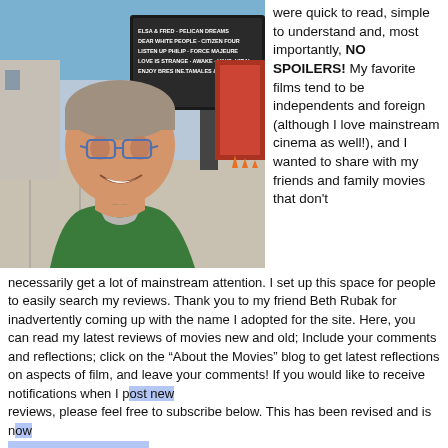[Figure (photo): Person smiling in front of a movie theater marquee showing films including ELSA & FRED, PELICAN DREAMS, DEAR WHITE PEOPLE, CITIZEN FOUR, LISTEN UP PHILIP, FORCE MAJEURE, LOVE IS STRANGE, AWAKE, V/H/S: VIRAL, and TAMALES & FRESCO PIZZA. The person wears glasses and a green jacket.]
were quick to read, simple to understand and, most importantly, NO SPOILERS! My favorite films tend to be independents and foreign (although I love mainstream cinema as well!), and I wanted to share with my friends and family movies that don't necessarily get a lot of mainstream attention. I set up this space for people to easily search my reviews. Thank you to my friend Beth Rubak for inadvertently coming up with the name I adopted for the site. Here, you can read my latest reviews of movies new and old; Include your comments and reflections; click on the “About the Movies” blog to get latest reflections on aspects of film, and leave your comments! If you would like to receive notifications when I post new reviews, please feel free to subscribe below. This has been revised and is now working properly. Enjoy the show!